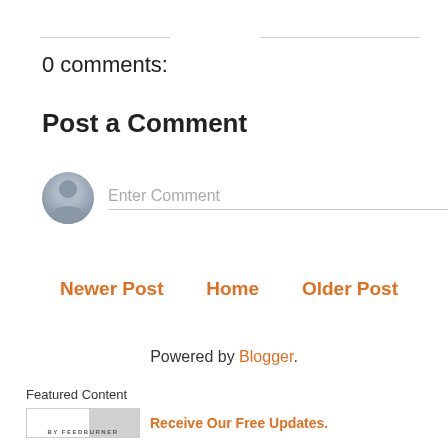0 comments:
Post a Comment
[Figure (other): Comment input area with gray avatar icon and 'Enter Comment' placeholder text field]
Newer Post    Home    Older Post
Powered by Blogger.
Featured Content
[Figure (logo): FeedBurner badge logo]
Receive Our Free Updates.